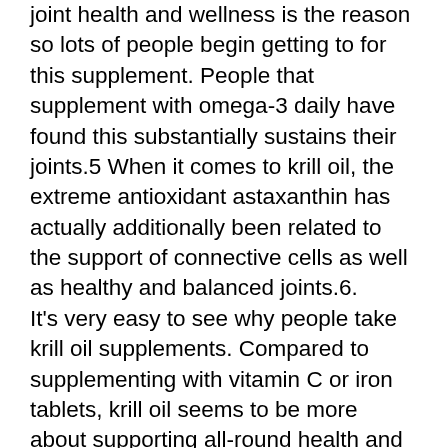joint health and wellness is the reason so lots of people begin getting to for this supplement. People that supplement with omega-3 daily have found this substantially sustains their joints.5 When it comes to krill oil, the extreme antioxidant astaxanthin has actually additionally been related to the support of connective cells as well as healthy and balanced joints.6. It's very easy to see why people take krill oil supplements. Compared to supplementing with vitamin C or iron tablets, krill oil seems to be more about supporting all-round health and wellness in contrast to dealing with particular concerns or deficiencies.
The clinical community has validated lots of great advantages of omega-3 fatty acids, as